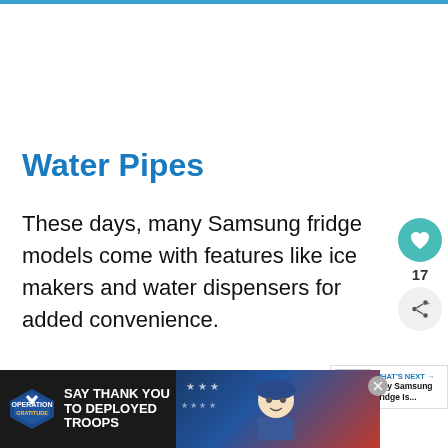Water Pipes
These days, many Samsung fridge models come with features like ice makers and water dispensers for added convenience.
[Figure (infographic): Like/favorite button (teal circle with heart icon) with count 17, and share button (grey circle with share icon)]
[Figure (infographic): Back to top button (grey square with up chevron icon)]
[Figure (infographic): What's Next widget showing a fridge image and text 'Why Samsung Fridge Is...']
[Figure (infographic): Advertisement banner: Operation Gratitude - SAY THANK YOU TO DEPLOYED TROOPS with patriotic imagery and a character illustration]